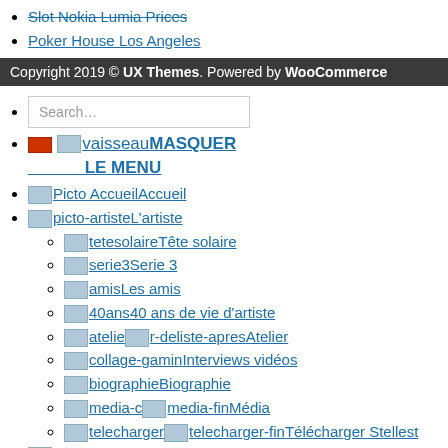Slot Nokia Lumia Prices
Poker House Los Angeles
Copyright 2019 © UX Themes. Powered by WooCommerce
Search...
vaisseau MASQUER LE MENU
Picto Accueil Accueil
picto-artiste L'artiste
tetesolaire Tête solaire
serie3 Serie 3
amis Les amis
40ans 40 ans de vie d'artiste
atelier-deliste-apres Atelier
collage-gamin Interviews vidéos
biographie Biographie
media-c media-fin Média
telecharger telecharger-fin Télécharger Stellest
Picto Galeries Galeries
Picto Projets Projets (1984 – 2009)
Peintures (1975 – ...)